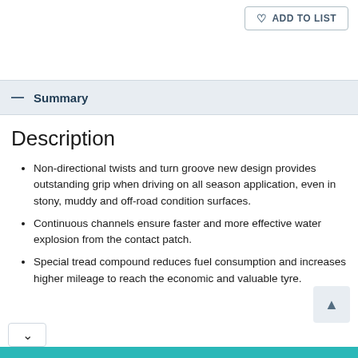♡ ADD TO LIST
— Summary
Description
Non-directional twists and turn groove new design provides outstanding grip when driving on all season application, even in stony, muddy and off-road condition surfaces.
Continuous channels ensure faster and more effective water explosion from the contact patch.
Special tread compound reduces fuel consumption and increases higher mileage to reach the economic and valuable tyre.